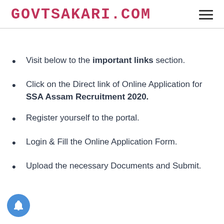GOVTSAKARI.COM
Visit below to the important links section.
Click on the Direct link of Online Application for SSA Assam Recruitment 2020.
Register yourself to the portal.
Login & Fill the Online Application Form.
Upload the necessary Documents and Submit.